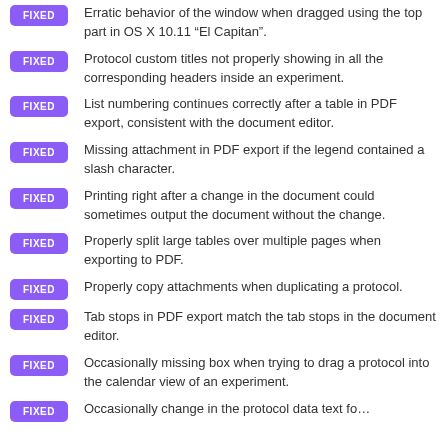FIXED Erratic behavior of the window when dragged using the top part in OS X 10.11 “El Capitan”.
FIXED Protocol custom titles not properly showing in all the corresponding headers inside an experiment.
FIXED List numbering continues correctly after a table in PDF export, consistent with the document editor.
FIXED Missing attachment in PDF export if the legend contained a slash character.
FIXED Printing right after a change in the document could sometimes output the document without the change.
FIXED Properly split large tables over multiple pages when exporting to PDF.
FIXED Properly copy attachments when duplicating a protocol.
FIXED Tab stops in PDF export match the tab stops in the document editor.
FIXED Occasionally missing box when trying to drag a protocol into the calendar view of an experiment.
FIXED Occasionally change in the protocol data text folder the…